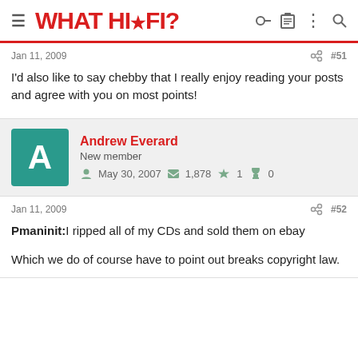WHAT HI·FI?
Jan 11, 2009  #51
I'd also like to say chebby that I really enjoy reading your posts and agree with you on most points!
Andrew Everard New member  May 30, 2007  1,878  1  0
Jan 11, 2009  #52
Pmaninit: I ripped all of my CDs and sold them on ebay

Which we do of course have to point out breaks copyright law.